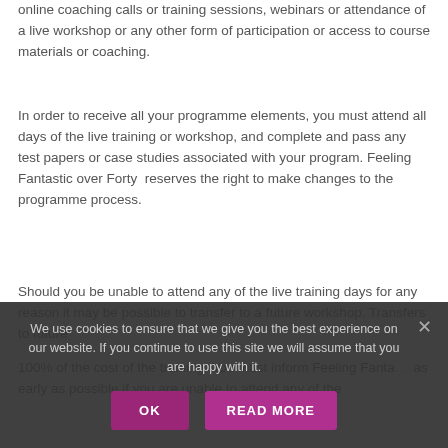online coaching calls or training sessions, webinars or attendance of a live workshop or any other form of participation or access to course materials or coaching.
In order to receive all your programme elements, you must attend all days of the live training or workshop, and complete and pass any test papers or case studies associated with your program. Feeling Fantastic over Forty  reserves the right to make changes to the programme process.
Should you be unable to attend any of the live training days for any reason it may be possible to transfer to a future workshop. Transfers to future
100% of the cost of the training. You must inform Feeling Fanta... as early as possible if you are unable to attend any of the
We use cookies to ensure that we give you the best experience on our website. If you continue to use this site we will assume that you are happy with it.